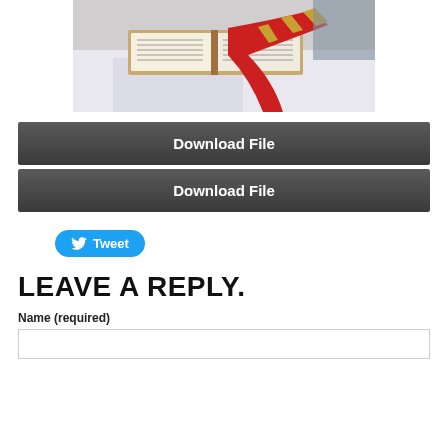[Figure (photo): Open book/bible on a white draped surface with a red and gold stole/sash draped over it, photographed in a church or religious setting]
Download File
Download File
[Figure (other): Tweet button with Twitter bird icon]
LEAVE A REPLY.
Name (required)